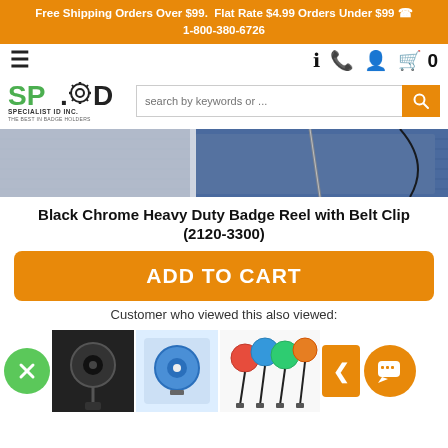Free Shipping Orders Over $99. Flat Rate $4.99 Orders Under $99 📞 1-800-380-6726
[Figure (logo): SP.ID Specialist ID Inc. logo with green text and gear icon]
[Figure (screenshot): Product image showing black badge reel with belt clip against denim jeans background]
Black Chrome Heavy Duty Badge Reel with Belt Clip (2120-3300)
ADD TO CART
Customer who viewed this also viewed:
[Figure (photo): Thumbnails of badge reels and lanyards products for cross-sell]